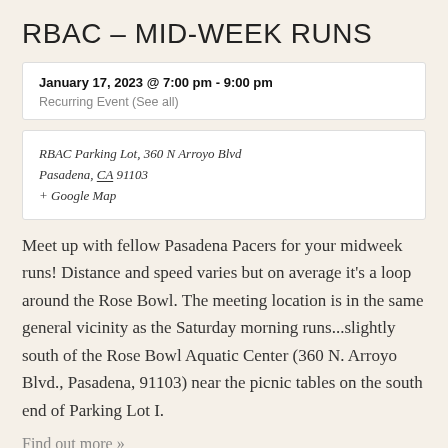RBAC – MID-WEEK RUNS
January 17, 2023 @ 7:00 pm - 9:00 pm
Recurring Event (See all)
RBAC Parking Lot, 360 N Arroyo Blvd
Pasadena, CA 91103
+ Google Map
Meet up with fellow Pasadena Pacers for your midweek runs! Distance and speed varies but on average it's a loop around the Rose Bowl. The meeting location is in the same general vicinity as the Saturday morning runs...slightly south of the Rose Bowl Aquatic Center (360 N. Arroyo Blvd., Pasadena, 91103) near the picnic tables on the south end of Parking Lot I.
Find out more »